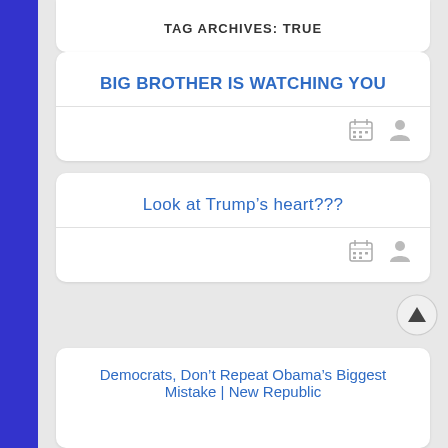TAG ARCHIVES: TRUE
BIG BROTHER IS WATCHING YOU
Look at Trump's heart???
Democrats, Don't Repeat Obama's Biggest Mistake | New Republic